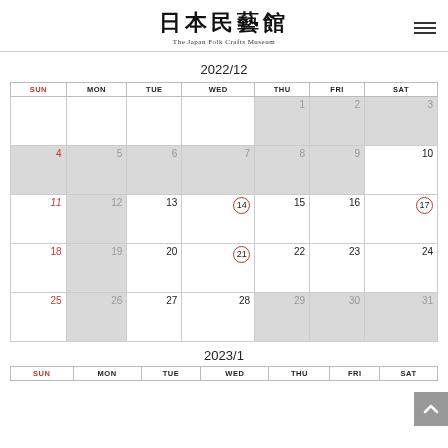日本民藝館 The Japan Folk Crafts Museum
2022/12
| SUN | MON | TUE | WED | THU | FRI | SAT |
| --- | --- | --- | --- | --- | --- | --- |
|  |  |  |  | 1 | 2 | 3 |
| 4 | 5 | 6 | 7 | 8 | 9 | 10 |
| 11 | 12 | 13 | 14 | 15 | 16 | 17 |
| 18 | 19 | 20 | 21 | 22 | 23 | 24 |
| 25 | 26 | 27 | 28 | 29 | 30 | 31 |
2023/1
| SUN | MON | TUE | WED | THU | FRI | SAT |
| --- | --- | --- | --- | --- | --- | --- |